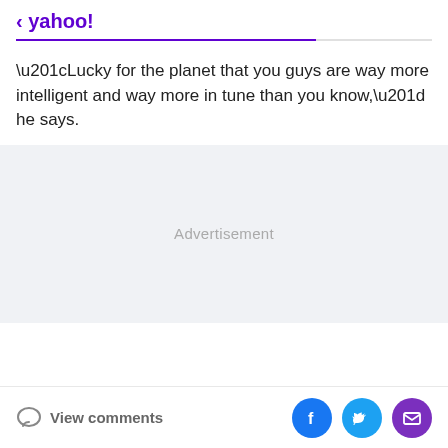< yahoo!
“Lucky for the planet that you guys are way more intelligent and way more in tune than you know,” he says.
[Figure (other): Advertisement placeholder area with light gray background]
View comments